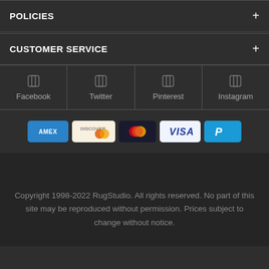POLICIES
CUSTOMER SERVICE
[Figure (infographic): Social media icons row: Facebook, Twitter, Pinterest, Instagram]
[Figure (infographic): Payment method logos: Amex, Discover, Mastercard, Visa, PayPal]
Copyright 1998-2022 RugStudio. All rights reserved. No part of this site may be reproduced without permission. Prices subject to change without notice.